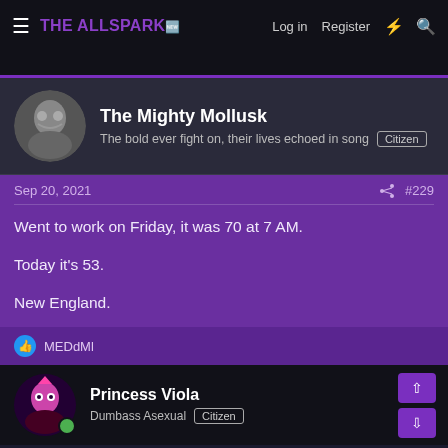THE ALLSPARK | Log in | Register
The Mighty Mollusk
The bold ever fight on, their lives echoed in song  Citizen
Sep 20, 2021  #229
Went to work on Friday, it was 70 at 7 AM.

Today it's 53.

New England.
MEDdMl
Princess Viola
Dumbass Asexual  Citizen